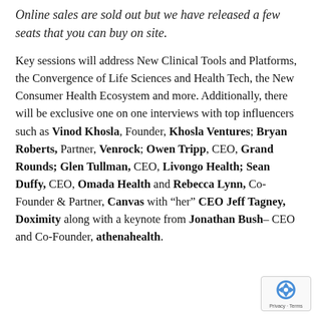Online sales are sold out but we have released a few seats that you can buy on site.
Key sessions will address New Clinical Tools and Platforms, the Convergence of Life Sciences and Health Tech, the New Consumer Health Ecosystem and more. Additionally, there will be exclusive one on one interviews with top influencers such as Vinod Khosla, Founder, Khosla Ventures; Bryan Roberts, Partner, Venrock; Owen Tripp, CEO, Grand Rounds; Glen Tullman, CEO, Livongo Health; Sean Duffy, CEO, Omada Health and Rebecca Lynn, Co-Founder & Partner, Canvas with “her” CEO Jeff Tagney, Doximity along with a keynote from Jonathan Bush– CEO and Co-Founder, athenahealth.
[Figure (logo): reCAPTCHA badge with Privacy and Terms links]